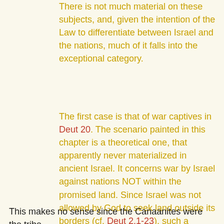There is not much material on these subjects, and, given the intention of the Law to differentiate between Israel and the nations, much of it falls into the exceptional category.
The first case is that of war captives in Deut 20. The scenario painted in this chapter is a theoretical one, that apparently never materialized in ancient Israel. It concerns war by Israel against nations NOT within the promised land. Since Israel was not allowed by God to seek land outside its borders (cf. Deut 2.1-23), such a military campaign could only be made against a foreign power that had attacked Israel in her own territory. By the time these events occurred (e.g. Assyria), Israel's power had been so dissipated through covenant disloyalty that military moves of these sort would have been unthinkable.
This makes no sense since the Canaanites were the tribe